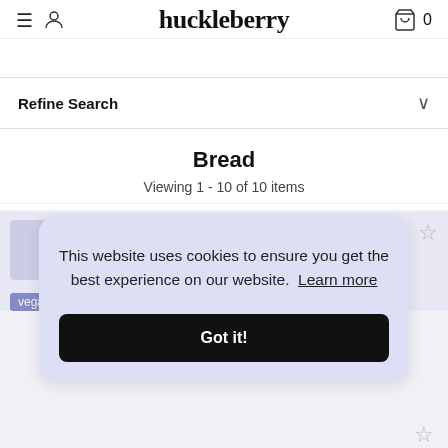huckleberry
Refine Search
Bread
Viewing 1 - 10 of 10 items
Venerdi Gluten-Free Pizza Base
400 grams
This website uses cookies to ensure you get the best experience on our website. Learn more
Got it!